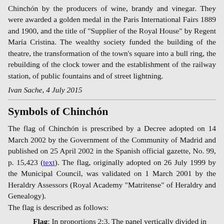Chinchón by the producers of wine, brandy and vinegar. They were awarded a golden medal in the Paris International Fairs 1889 and 1900, and the title of "Supplier of the Royal House" by Regent María Cristina. The wealthy society funded the building of the theatre, the transformation of the town's square into a bull ring, the rebuilding of the clock tower and the establishment of the railway station, of public fountains and of street lightning.
Ivan Sache, 4 July 2015
Symbols of Chinchón
The flag of Chinchón is prescribed by a Decree adopted on 14 March 2002 by the Government of the Community of Madrid and published on 25 April 2002 in the Spanish official gazette, No. 99, p. 15,423 (text). The flag, originally adopted on 26 July 1999 by the Municipal Council, was validated on 1 March 2001 by the Heraldry Assessors (Royal Academy "Matritense" of Heraldry and Genealogy).
The flag is described as follows:
Flag: In proportions 2:3. The panel vertically divided in two parts, red at hoist and blue at fly.